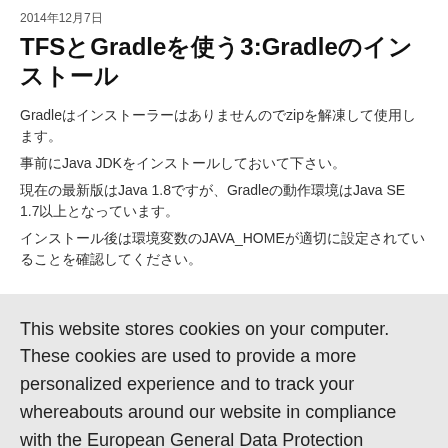2014年12月7日
TFSとGradleを使う3:Gradleのインストール
Gradleはインストーラーはありませんのでzipを解凍して使用します。
事前にJava JDKをインストールしておいて下さい。
現在の最新版はJava 1.8ですが、Gradleの動作環境はJava SE 1.7以上となっています。
インストール後は環境変数のJAVA_HOMEが適切に設定されていることを確認してください。
This website stores cookies on your computer. These cookies are used to provide a more personalized experience and to track your whereabouts around our website in compliance with the European General Data Protection Regulation. If you decide to to opt-out of any future tracking, a cookie will be setup in your browser to remember this choice for one year.
Accept or Deny